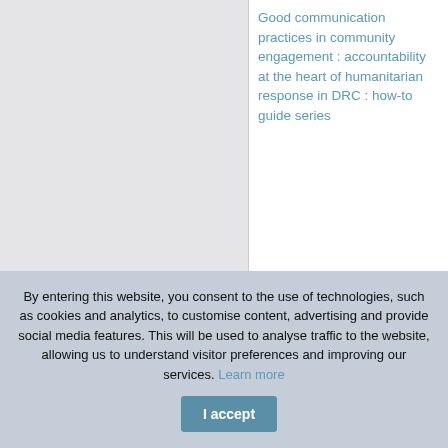Good communication practices in community engagement : accountability at the heart of humanitarian response in DRC : how-to guide series
Additional information
CICR  1999
Seminar for non-governmental organizations on
By entering this website, you consent to the use of technologies, such as cookies and analytics, to customise content, advertising and provide social media features. This will be used to analyse traffic to the website, allowing us to understand visitor preferences and improving our services. Learn more